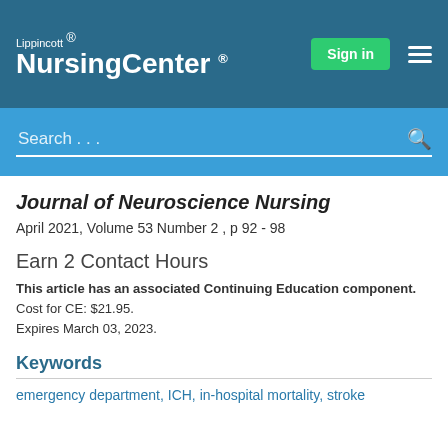Lippincott® NursingCenter®
Journal of Neuroscience Nursing
April 2021, Volume 53 Number 2 , p 92 - 98
Earn 2 Contact Hours
This article has an associated Continuing Education component. Cost for CE: $21.95. Expires March 03, 2023.
Keywords
emergency department, ICH, in-hospital mortality, stroke